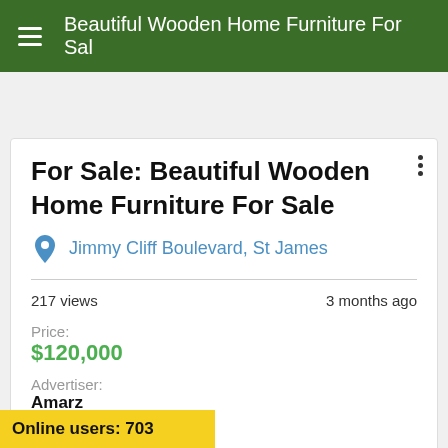Beautiful Wooden Home Furniture For Sal
For Sale: Beautiful Wooden Home Furniture For Sale
Jimmy Cliff Boulevard, St James
217 views    3 months ago
Price:
$120,000
Advertiser:
Amarz
Phone:
18763702000
Online users: 703
n: